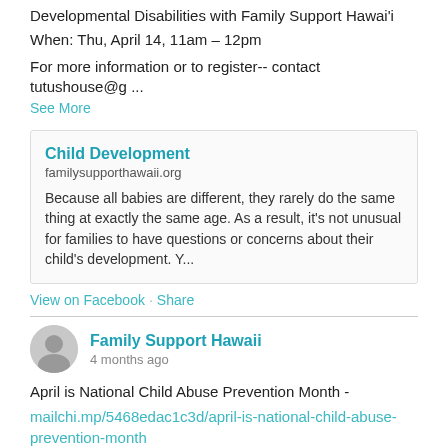Developmental Disabilities with Family Support Hawai'i
When: Thu, April 14, 11am – 12pm
For more information or to register-- contact tutushouse@g ...
See More
[Figure (screenshot): Embedded link card for Child Development on familysupporthawaii.org with description about babies and child development.]
View on Facebook · Share
Family Support Hawaii
4 months ago
April is National Child Abuse Prevention Month -
mailchi.mp/5468edac1c3d/april-is-national-child-abuse-prevention-month